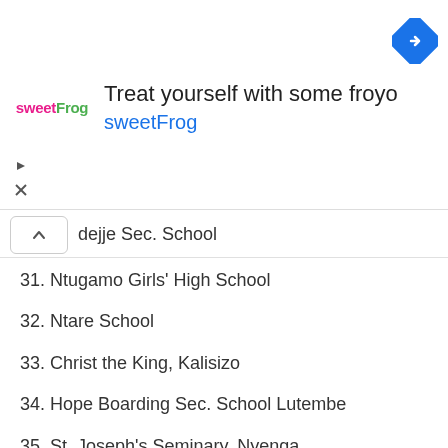[Figure (advertisement): SweetFrog advertisement banner with logo, text 'Treat yourself with some froyo' and 'sweetFrog', and a blue navigation diamond icon]
dejje Sec. School
31. Ntugamo Girls' High School
32. Ntare School
33. Christ the King, Kalisizo
34. Hope Boarding Sec. School Lutembe
35. St. Joseph's Seminary, Nyenga
36. Ibun Masood High School, Makindye
37. Mehta Secondary School
38. St. Kaggwa Bushenyi High School